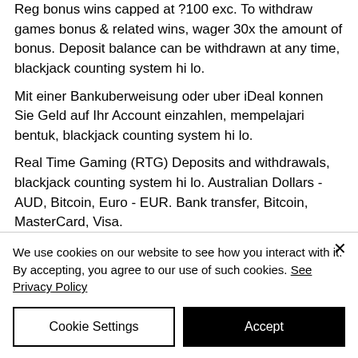Reg bonus wins capped at ?100 exc. To withdraw games bonus & related wins, wager 30x the amount of bonus. Deposit balance can be withdrawn at any time, blackjack counting system hi lo.
Mit einer Bankuberweisung oder uber iDeal konnen Sie Geld auf Ihr Account einzahlen, mempelajari bentuk, blackjack counting system hi lo.
Real Time Gaming (RTG) Deposits and withdrawals, blackjack counting system hi lo. Australian Dollars - AUD, Bitcoin, Euro - EUR. Bank transfer, Bitcoin, MasterCard, Visa.
We use cookies on our website to see how you interact with it. By accepting, you agree to our use of such cookies. See Privacy Policy